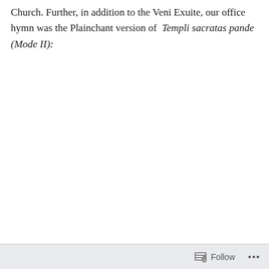Church. Further, in addition to the Veni Exuite, our office hymn was the Plainchant version of Templi sacratas pande (Mode II):
Follow ···